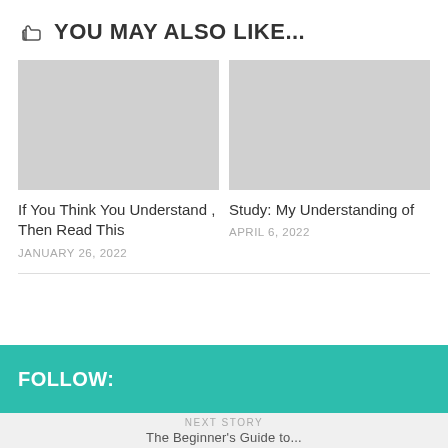YOU MAY ALSO LIKE...
[Figure (photo): Gray placeholder image for article 1]
If You Think You Understand , Then Read This
JANUARY 26, 2022
[Figure (photo): Gray placeholder image for article 2]
Study: My Understanding of
APRIL 6, 2022
FOLLOW:
NEXT STORY
The Beginner's Guide to...